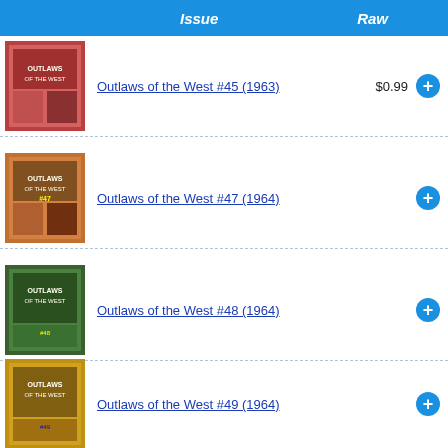Issue   Raw
Outlaws of the West #45 (1963)  $0.99
Outlaws of the West #47 (1964)
Outlaws of the West #48 (1964)
Outlaws of the West #49 (1964)
Outlaws of the West #50 (1964)  $0.99